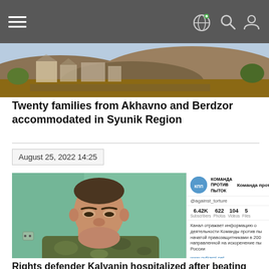Navigation bar with hamburger menu and icons
[Figure (photo): Aerial view of damaged/destroyed buildings and terrain, brown and green colors]
Twenty families from Akhavno and Berdzor accommodated in Syunik Region
August 25, 2022 14:25
[Figure (photo): Middle-aged man in camouflage jacket looking at camera, against a green wall background. Alongside is a Telegram channel preview for 'Команда против пыток' (@against_torture) showing 6.42K Subscribers, 622 Photos, 104 Videos, 5 Files, and channel description in Russian, with a Download Telegram button.]
Rights defender Kalyanin hospitalized after beating